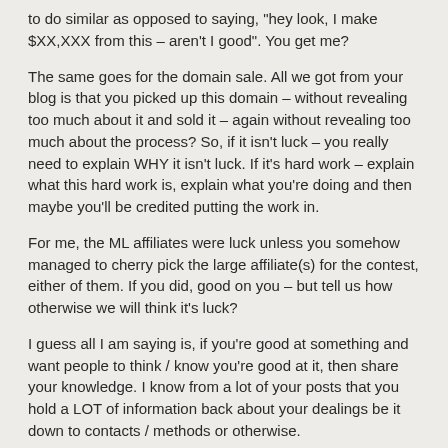to do similar as opposed to saying, "hey look, I make $XX,XXX from this – aren't I good". You get me?
The same goes for the domain sale. All we got from your blog is that you picked up this domain – without revealing too much about it and sold it – again without revealing too much about the process? So, if it isn't luck – you really need to explain WHY it isn't luck. If it's hard work – explain what this hard work is, explain what you're doing and then maybe you'll be credited putting the work in.
For me, the ML affiliates were luck unless you somehow managed to cherry pick the large affiliate(s) for the contest, either of them. If you did, good on you – but tell us how otherwise we will think it's luck?
I guess all I am saying is, if you're good at something and want people to think / know you're good at it, then share your knowledge. I know from a lot of your posts that you hold a LOT of information back about your dealings be it down to contacts / methods or otherwise.
As I said, I have no problem with you at all Tyler. I think it's a good blog to just read for something to do as opposed to learning how to make money online and I really do wish you the best of *luck* with it all. I admit, hard work